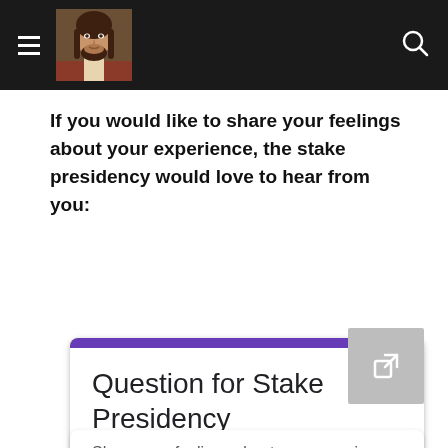[Navigation bar with hamburger menu, Jesus portrait logo, and search icon]
If you would like to share your feelings about your experience, the stake presidency would love to hear from you:
[Figure (screenshot): Google Form embed card with purple header bar, title 'Question for Stake Presidency', sign-in prompt 'Sign in to Google to save your progress. Learn more', and a gray external link button in the top-right corner]
Share your feelings about your experience